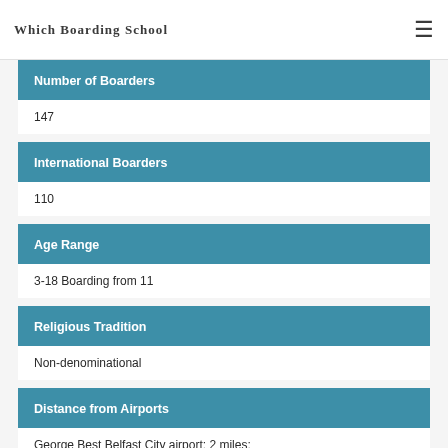Which Boarding School
Number of Boarders
147
International Boarders
110
Age Range
3-18 Boarding from 11
Religious Tradition
Non-denominational
Distance from Airports
George Best Belfast City airport: 2 miles; Belfast International Airport: 21 miles